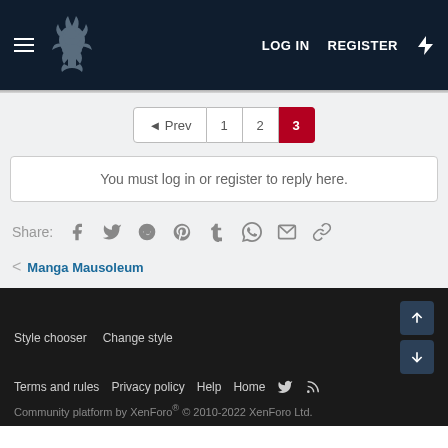LOG IN  REGISTER
◄ Prev  1  2  3
You must log in or register to reply here.
Share:
Manga Mausoleum
Style chooser  Change style  Terms and rules  Privacy policy  Help  Home  Community platform by XenForo® © 2010-2022 XenForo Ltd.